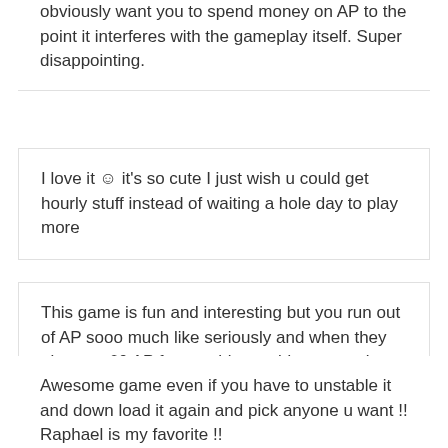obviously want you to spend money on AP to the point it interferes with the gameplay itself. Super disappointing.
I love it ☺ it's so cute I just wish u could get hourly stuff instead of waiting a hole day to play more
This game is fun and interesting but you run out of AP sooo much like seriously and when they give you 60 AP for watching a video you only get through like 2-4 sentences positively 3 sentences I really like this game and if it's just one thing bothering me then I'm fine that's why I give it a four star
Awesome game even if you have to unstable it and down load it again and pick anyone u want !! Raphael is my favorite !!